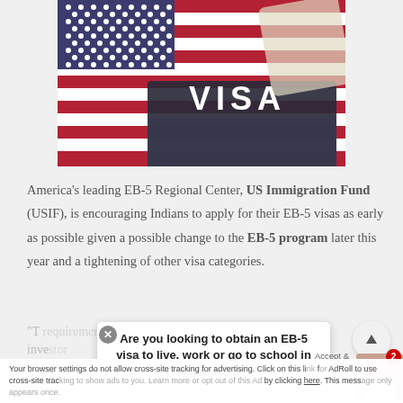[Figure (photo): Photo of a US visa document overlaid on an American flag background, with the word VISA visible in large white letters on the dark document]
America's leading EB-5 Regional Center, US Immigration Fund (USIF), is encouraging Indians to apply for their EB-5 visas as early as possible given a possible change to the EB-5 program later this year and a tightening of other visa categories.
"T requirements to be a qualified investor
[Figure (other): Popup overlay asking 'Are you looking to obtain an EB-5 visa to live, work or go to school in the U.S.?' with a close button and up-arrow navigation button, plus avatar badge showing number 2]
Your browser settings do not allow cross-site tracking for advertising. Click on this link for AdRoll to use cross-site tracking to show ads to you. Learn more or opt out of this Ad by clicking here. This message only appears once.